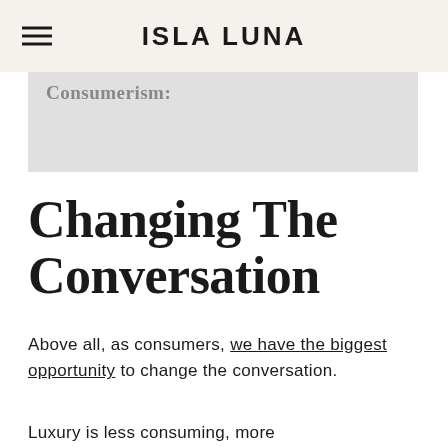ISLA LUNA
Consumerism:
Changing The Conversation
Above all, as consumers, we have the biggest opportunity to change the conversation.
Luxury is less consuming, more